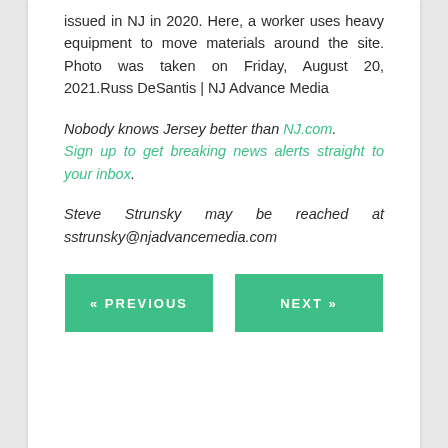issued in NJ in 2020. Here, a worker uses heavy equipment to move materials around the site. Photo was taken on Friday, August 20, 2021.Russ DeSantis | NJ Advance Media
Nobody knows Jersey better than NJ.com. Sign up to get breaking news alerts straight to your inbox.
Steve Strunsky may be reached at sstrunsky@njadvancemedia.com